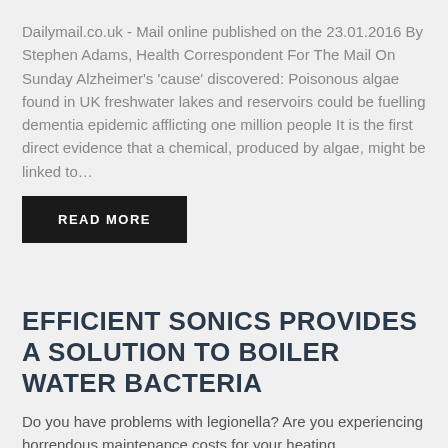Dailymail.co.uk - Mail online published on the 23.01.2016 By Stephen Adams, Health Correspondent For The Mail On Sunday Alzheimer's 'cause' discovered: Poisonous algae found in UK freshwater lakes and reservoirs could be fuelling dementia epidemic afflicting one million people It is the first direct evidence that a chemical, produced by algae, might be linked to…
READ MORE
EFFICIENT SONICS PROVIDES A SOLUTION TO BOILER WATER BACTERIA
Do you have problems with legionella? Are you experiencing horrendous maintenance costs for your heating